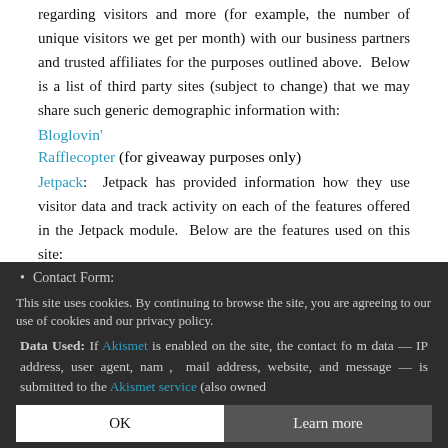regarding visitors and more (for example, the number of unique visitors we get per month) with our business partners and trusted affiliates for the purposes outlined above.  Below is a list of third party sites (subject to change) that we may share such generic demographic information with:
Bloglovin'
Rafflecopter (for giveaway purposes only)
Jetpack:  Jetpack has provided information how they use visitor data and track activity on each of the features offered in the Jetpack module.  Below are the features used on this site:
Contact Form:
This site uses cookies. By continuing to browse the site, you are agreeing to our use of cookies and our privacy policy.
Data Used: If Akismet is enabled on the site, the contact form submission data — IP address, user agent, name, email address, website, and message — is submitted to the Akismet service (also owned
OK
Learn more